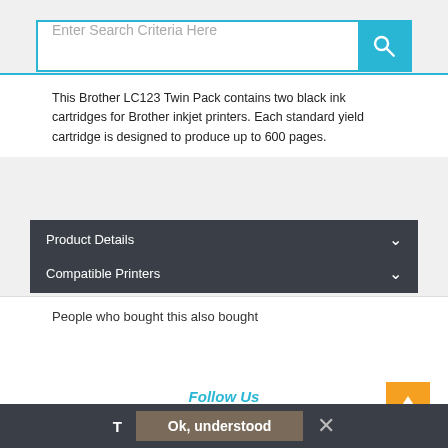[Figure (screenshot): Search bar with placeholder text 'Enter Search Criteria Here' and a cyan/blue search button with magnifying glass icon]
This Brother LC123 Twin Pack contains two black ink cartridges for Brother inkjet printers. Each standard yield cartridge is designed to produce up to 600 pages.
Product Details
Compatible Printers
People who bought this also bought
Follow Us
Ok, understood